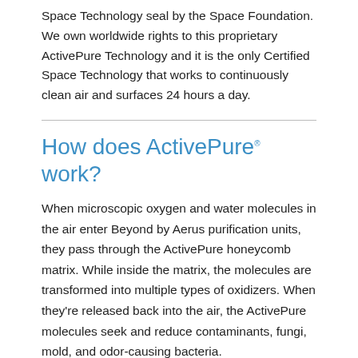Space Technology seal by the Space Foundation. We own worldwide rights to this proprietary ActivePure Technology and it is the only Certified Space Technology that works to continuously clean air and surfaces 24 hours a day.
How does ActivePure® work?
When microscopic oxygen and water molecules in the air enter Beyond by Aerus purification units, they pass through the ActivePure honeycomb matrix. While inside the matrix, the molecules are transformed into multiple types of oxidizers. When they're released back into the air, the ActivePure molecules seek and reduce contaminants, fungi, mold, and odor-causing bacteria.
1 ActivePure does not replace the need to follow public health guidance and should be used as a complementary technology.
Products